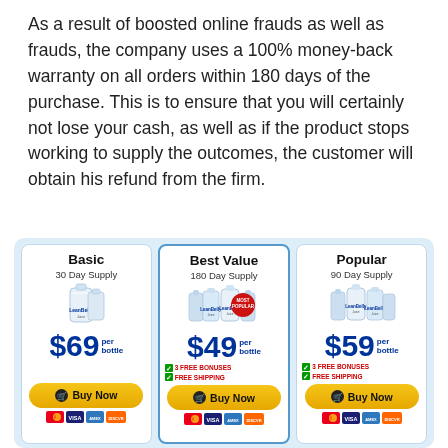As a result of boosted online frauds as well as frauds, the company uses a 100% money-back warranty on all orders within 180 days of the purchase. This is to ensure that you will certainly not lose your cash, as well as if the product stops working to supply the outcomes, the customer will obtain his refund from the firm.
[Figure (infographic): Three pricing cards side by side on a light blue background. Basic (30 Day Supply) $69/bottle with Buy Now button. Best Value (180 Day Supply) $49/bottle with 3 FREE BONUSES, FREE SHIPPING, and Buy Now button. Popular (90 Day Supply) $59/bottle with 3 FREE BONUSES, FREE SHIPPING, and Buy Now button. Each card shows product bottles and payment icons (Mastercard, VISA, Amex, Discover).]